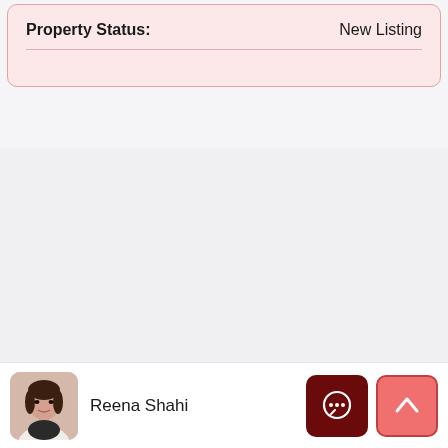| Property Status: | New Listing |
| --- | --- |
[Figure (photo): Agent headshot photo of Reena Shahi]
Reena Shahi
[Figure (other): Chat bubble icon button (dark red)]
[Figure (other): Up arrow icon button (pink/red)]